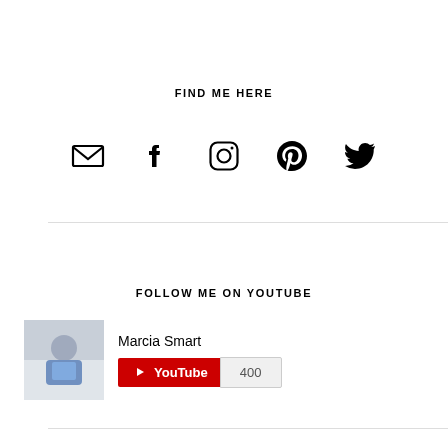FIND ME HERE
[Figure (infographic): Row of 5 social media icons: email/envelope, Facebook, Instagram, Pinterest, Twitter]
FOLLOW ME ON YOUTUBE
[Figure (infographic): YouTube channel widget showing Marcia Smart channel photo and YouTube subscribe button with 400 subscribers]